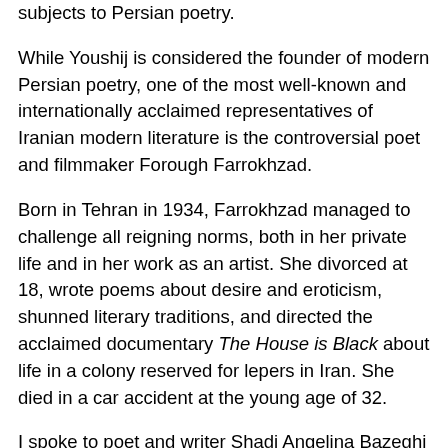subjects to Persian poetry.
While Youshij is considered the founder of modern Persian poetry, one of the most well-known and internationally acclaimed representatives of Iranian modern literature is the controversial poet and filmmaker Forough Farrokhzad.
Born in Tehran in 1934, Farrokhzad managed to challenge all reigning norms, both in her private life and in her work as an artist. She divorced at 18, wrote poems about desire and eroticism, shunned literary traditions, and directed the acclaimed documentary The House is Black about life in a colony reserved for lepers in Iran. She died in a car accident at the young age of 32.
I spoke to poet and writer Shadi Angelina Bazeghi about the challenges in reading and translating Farrokhzad from a gender neutral language to a gendered one. Along with Danish author Mette Moestrup, Bazeghi has written Kun stemmen bliver tilbage (Only the Voice Remains), the first